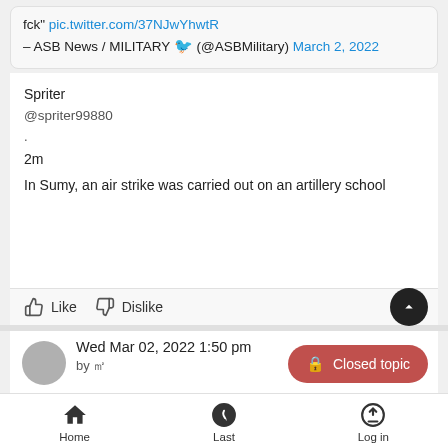fck" pic.twitter.com/37NJwYhwtR
– ASB News / MILITARY (@ASBMilitary) March 2, 2022
Spriter
@spriter99880
.
2m
In Sumy, an air strike was carried out on an artillery school
Like  Dislike
Wed Mar 02, 2022 1:50 pm
by
Closed topic
Home  Last  Log in